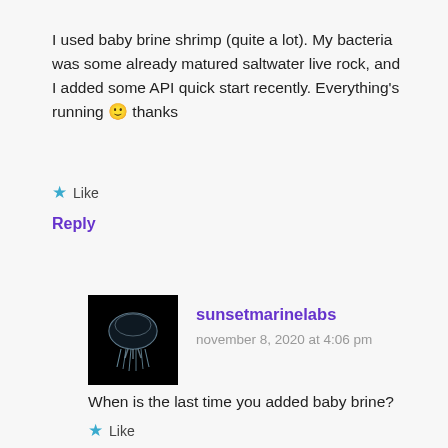I used baby brine shrimp (quite a lot). My bacteria was some already matured saltwater live rock, and I added some API quick start recently. Everything's running 🙂 thanks
Like
Reply
[Figure (photo): Avatar image of a jellyfish on a black background for user sunsetmarinelabs]
sunsetmarinelabs
november 8, 2020 at 4:06 pm
When is the last time you added baby brine?
Like